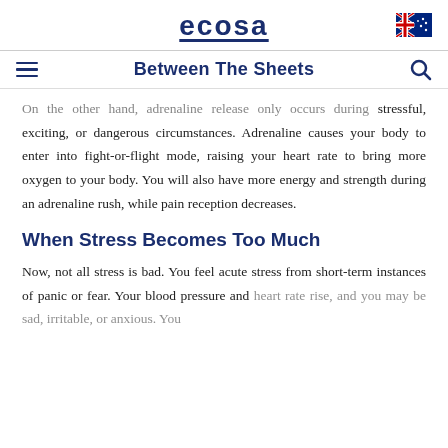ecosa
Between The Sheets
On the other hand, adrenaline release only occurs during stressful, exciting, or dangerous circumstances. Adrenaline causes your body to enter into fight-or-flight mode, raising your heart rate to bring more oxygen to your body. You will also have more energy and strength during an adrenaline rush, while pain reception decreases.
When Stress Becomes Too Much
Now, not all stress is bad. You feel acute stress from short-term instances of panic or fear. Your blood pressure and heart rate rise, and you may be sad, irritable, or anxious. You